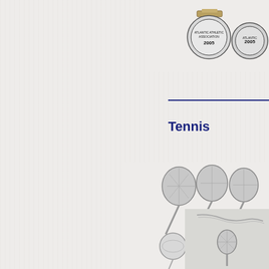[Figure (photo): Two round medallion cufflinks/pins with 'Atlantic Athletic Association 2005 Championship' engraving, photographed in upper right corner]
Tennis
[Figure (photo): Silver tennis racket and tennis ball pins/cufflinks jewelry items, arranged in a group on the right side]
[Figure (photo): Silver tennis racket pendant necklace on chain, partially visible in bottom right corner]